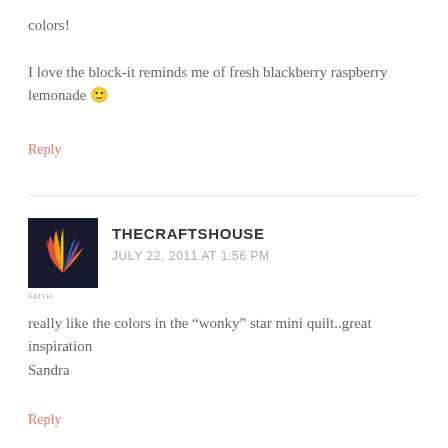colors!

I love the block-it reminds me of fresh blackberry raspberry lemonade 🙂
Reply
[Figure (photo): Avatar image showing colorful feather or plant design on dark background with 'FAITH' label below]
THECRAFTSHOUSE
JULY 22, 2011 AT 1:56 PM
really like the colors in the “wonky” star mini quilt..great inspiration
Sandra
Reply